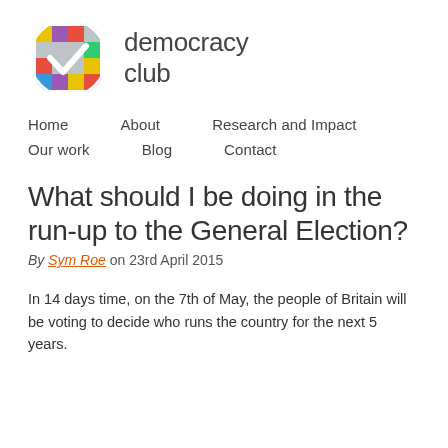[Figure (logo): Democracy Club logo: colorful mosaic circle with white checkmark, next to text 'democracy club']
Home   About   Research and Impact
Our work   Blog   Contact
What should I be doing in the run-up to the General Election?
By Sym Roe on 23rd April 2015
In 14 days time, on the 7th of May, the people of Britain will be voting to decide who runs the country for the next 5 years.